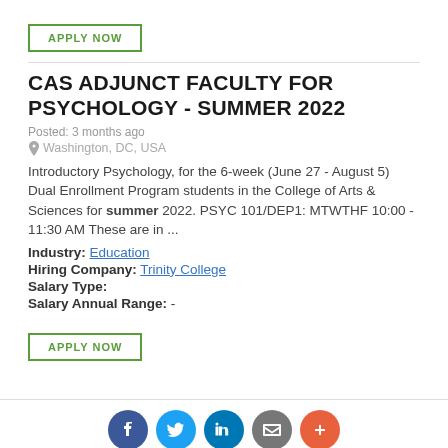APPLY NOW
CAS ADJUNCT FACULTY FOR PSYCHOLOGY - SUMMER 2022
Posted: 3 months ago
Washington, DC, USA
Introductory Psychology, for the 6-week (June 27 - August 5) Dual Enrollment Program students in the College of Arts & Sciences for summer 2022. PSYC 101/DEP1: MTWTHF 10:00 - 11:30 AM These are in ...
Industry: Education
Hiring Company: Trinity College
Salary Type:
Salary Annual Range: -
APPLY NOW